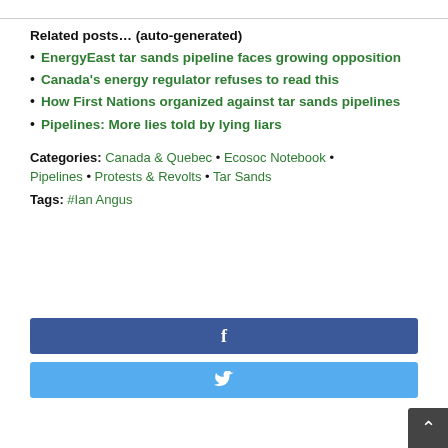Related posts… (auto-generated)
EnergyEast tar sands pipeline faces growing opposition
Canada's energy regulator refuses to read this
How First Nations organized against tar sands pipelines
Pipelines: More lies told by lying liars
Categories: Canada & Quebec • Ecosoc Notebook • Pipelines • Protests & Revolts • Tar Sands
Tags: #Ian Angus
[Figure (other): Facebook share button (blue)]
[Figure (other): Twitter share button (light blue)]